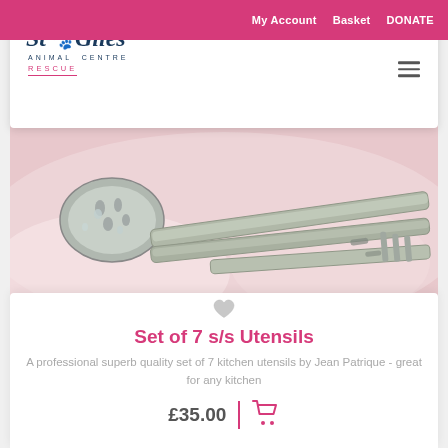My Account  Basket  DONATE
[Figure (logo): St Giles Animal Centre Rescue logo with paw print]
[Figure (photo): Close-up photo of a set of 7 stainless steel kitchen utensils on a pink background]
Set of 7 s/s Utensils
A professional superb quality set of 7 kitchen utensils by Jean Patrique - great for any kitchen
£35.00